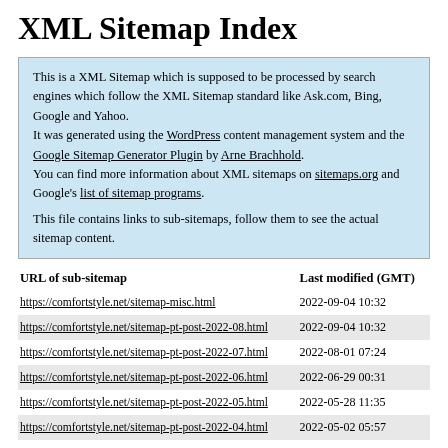XML Sitemap Index
This is a XML Sitemap which is supposed to be processed by search engines which follow the XML Sitemap standard like Ask.com, Bing, Google and Yahoo.
It was generated using the WordPress content management system and the Google Sitemap Generator Plugin by Arne Brachhold.
You can find more information about XML sitemaps on sitemaps.org and Google's list of sitemap programs.

This file contains links to sub-sitemaps, follow them to see the actual sitemap content.
| URL of sub-sitemap | Last modified (GMT) |
| --- | --- |
| https://comfortstyle.net/sitemap-misc.html | 2022-09-04 10:32 |
| https://comfortstyle.net/sitemap-pt-post-2022-08.html | 2022-09-04 10:32 |
| https://comfortstyle.net/sitemap-pt-post-2022-07.html | 2022-08-01 07:24 |
| https://comfortstyle.net/sitemap-pt-post-2022-06.html | 2022-06-29 00:31 |
| https://comfortstyle.net/sitemap-pt-post-2022-05.html | 2022-05-28 11:35 |
| https://comfortstyle.net/sitemap-pt-post-2022-04.html | 2022-05-02 05:57 |